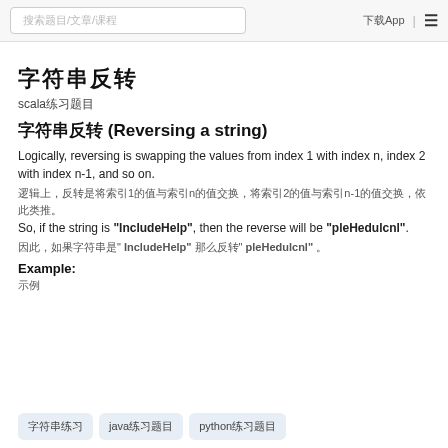搜索题目/文章/课程 | 下载App
字符串反转
scala练习题目
字符串反转 (Reversing a string)
Logically, reversing is swapping the values from index 1 with index n, index 2 with index n-1, and so on.
逻辑上，反转是将索引1的值与索引n的值交换，将索引2的值与索引n-1的值交换，依此类推。
So, if the string is "IncludeHelp", then the reverse will be "pleHedulcnl".
因此，如果字符串是" IncludeHelp" 那么反转" pleHedulcnl" 。
Example:
示例
字符串练习
java练习题目
python练习题目